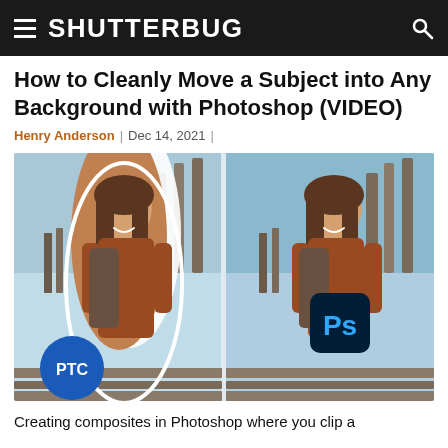SHUTTERBUG
How to Cleanly Move a Subject into Any Background with Photoshop (VIDEO)
Henry Anderson | Dec 14, 2021 |
[Figure (photo): Before-and-after composite image showing a woman with a backpack cut out with a white outline on the left, and seamlessly composited into a harbor background on the right, with Photoshop (Ps) and PTC logos overlaid.]
Creating composites in Photoshop where you clip a